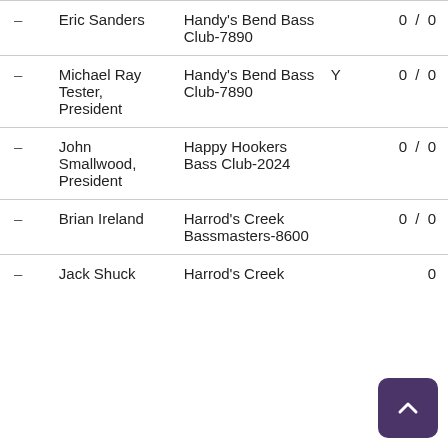| - | Name | Club | Y | Score |
| --- | --- | --- | --- | --- |
| - | Eric Sanders | Handy's Bend Bass Club-7890 |  | 0 / 0 |
| - | Michael Ray Tester, President | Handy's Bend Bass Club-7890 | Y | 0 / 0 |
| - | John Smallwood, President | Happy Hookers Bass Club-2024 |  | 0 / 0 |
| - | Brian Ireland | Harrod's Creek Bassmasters-8600 |  | 0 / 0 |
| - | Jack Shuck | Harrod's Creek |  | 0 |